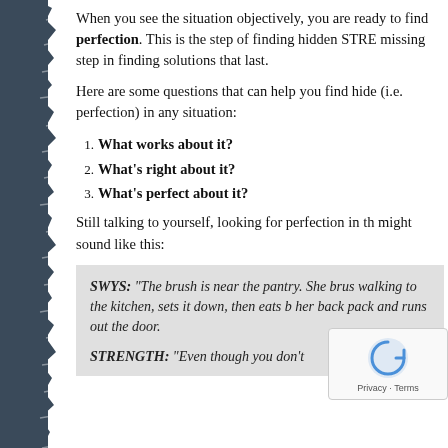When you see the situation objectively, you are ready to find perfection. This is the step of finding hidden STRE… missing step in finding solutions that last.
Here are some questions that can help you find hidden… (i.e. perfection) in any situation:
What works about it?
What's right about it?
What's perfect about it?
Still talking to yourself, looking for perfection in th… might sound like this:
SWYS: "The brush is near the pantry. She brus… walking to the kitchen, sets it down, then eats b… her back pack and runs out the door.
STRENGTH: "Even though you don't…